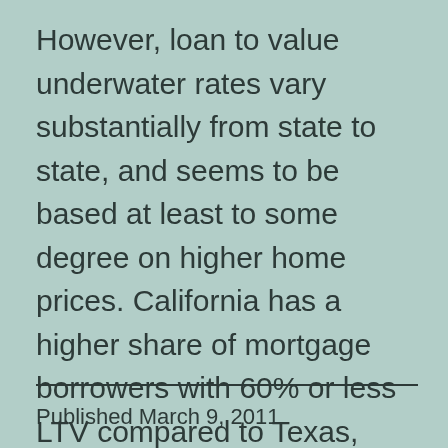However, loan to value underwater rates vary substantially from state to state, and seems to be based at least to some degree on higher home prices. California has a higher share of mortgage borrowers with 60% or less LTV compared to Texas, where homes are less expensive even though California has a negative equity share three times higher than Texas.
Published March 9, 2011